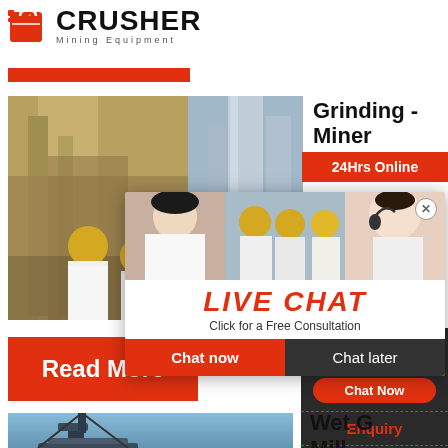[Figure (logo): Crusher Mining Equipment logo with red shopping bag icon and bold CRUSHER text]
[Figure (photo): Industrial mining facility with yellow-hard-hat workers and large cylindrical structures]
Grinding - Miner
[Figure (screenshot): Live Chat popup overlay with LIVE CHAT heading, 'Click for a Free Consultation', Chat now and Chat later buttons, and woman with headset]
24Hrs Online
Read More
Need questions & suggestion?
Chat Now
Enquiry
limingjlmofen@sina.com
[Figure (photo): Close-up of mining/drilling equipment against blue sky]
Wet G Mill